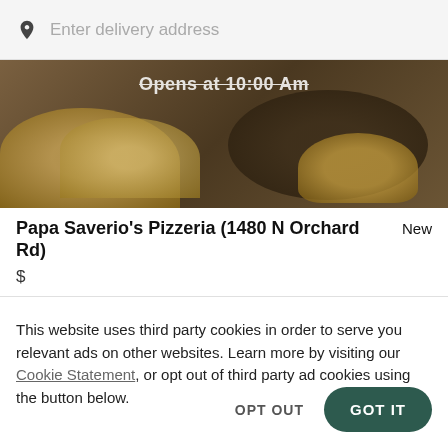Enter delivery address
[Figure (photo): Restaurant food photo background showing baked/grilled items with text 'Opens at 10:00 Am' overlaid]
Papa Saverio's Pizzeria (1480 N Orchard Rd)
New
$
This website uses third party cookies in order to serve you relevant ads on other websites. Learn more by visiting our Cookie Statement, or opt out of third party ad cookies using the button below.
OPT OUT
GOT IT